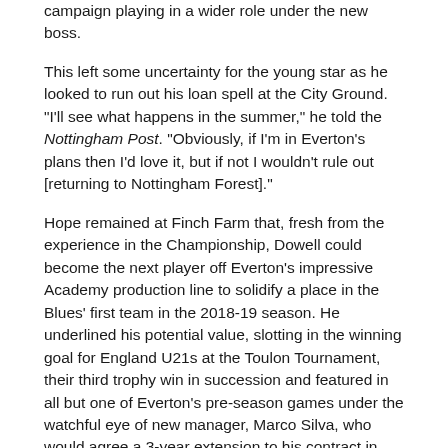campaign playing in a wider role under the new boss.
This left some uncertainty for the young star as he looked to run out his loan spell at the City Ground. "I'll see what happens in the summer," he told the Nottingham Post. "Obviously, if I'm in Everton's plans then I'd love it, but if not I wouldn't rule out [returning to Nottingham Forest]."
Hope remained at Finch Farm that, fresh from the experience in the Championship, Dowell could become the next player off Everton's impressive Academy production line to solidify a place in the Blues' first team in the 2018-19 season. He underlined his potential value, slotting in the winning goal for England U21s at the Toulon Tournament, their third trophy win in succession and featured in all but one of Everton's pre-season games under the watchful eye of new manager, Marco Silva, who would agree a 3-year extension to his contract in August 2018.
That earned him an appearance in the League Cup against Southampton but in what was a generally poor display all round by Everton, he was hauled off at half-time. His appearances for the U23s became less frequent and it was little surprise when another loan move was negotiated with a